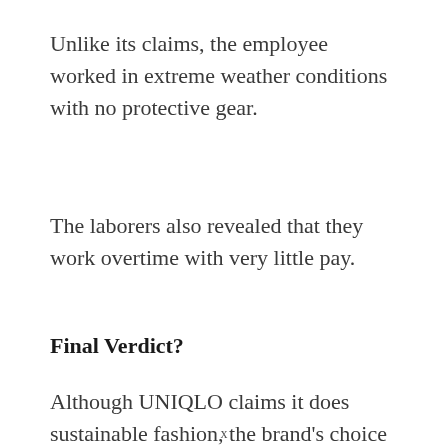Unlike its claims, the employee worked in extreme weather conditions with no protective gear.
The laborers also revealed that they work overtime with very little pay.
Final Verdict?
Although UNIQLO claims it does sustainable fashion, the brand's choice of fabric material
x